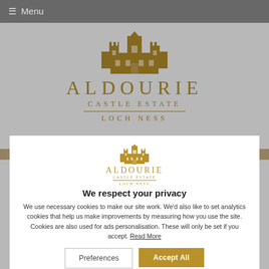≡ Menu
[Figure (logo): Aldourie Castle Estate Loch Ness gold illustrated castle logo with brand name]
[Figure (logo): Aldourie Castle Estate Loch Ness small gold illustrated castle logo in cookie consent modal]
We respect your privacy
We use necessary cookies to make our site work. We'd also like to set analytics cookies that help us make improvements by measuring how you use the site. Cookies are also used for ads personalisation. These will only be set if you accept. Read More
Preferences
Accept All